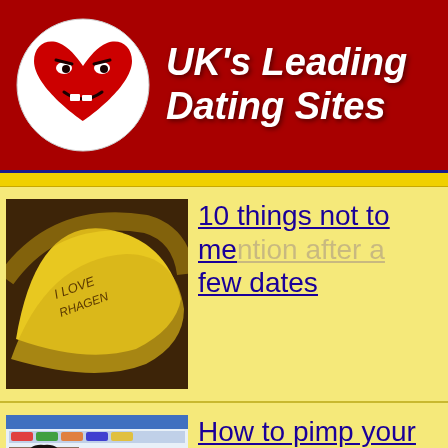UK's Leading Dating Sites
[Figure (illustration): Banana image with text written on it, representing a dating advice article thumbnail]
10 things not to mention on your first few dates
[Figure (screenshot): Screenshot of a dating profile page showing a woman with dark hair]
How to pimp your dating profile